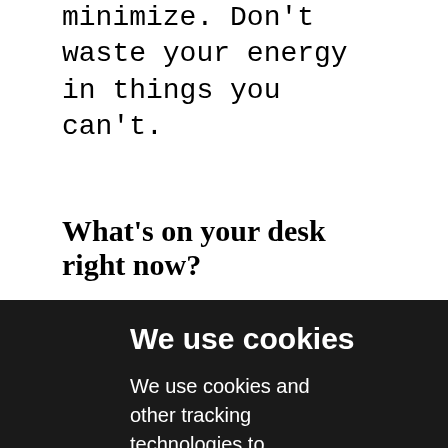minimize. Don't waste your energy in things you can't.
What's on your desk right now?
We use cookies
We use cookies and other tracking technologies to improve your browsing experience on our website, to show you